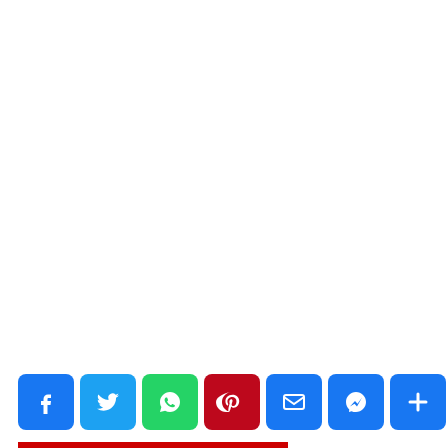[Figure (infographic): Social media share bar with icons: Facebook (blue), Twitter (blue), WhatsApp (green), Pinterest (dark red), Email (blue), Messenger (blue), and a plus/more button (blue). A red horizontal bar appears at the very bottom beneath the icons.]